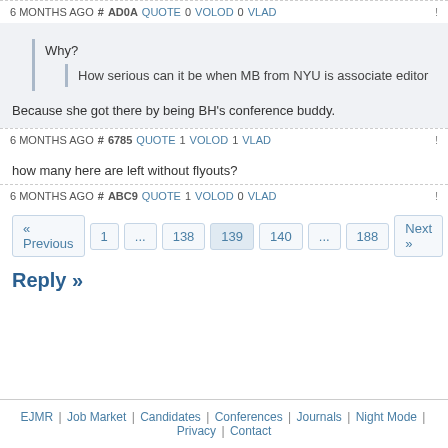6 MONTHS AGO # AD0A QUOTE 0 VOLOD 0 VLAD !
Why?
How serious can it be when MB from NYU is associate editor
Because she got there by being BH's conference buddy.
6 MONTHS AGO # 6785 QUOTE 1 VOLOD 1 VLAD !
how many here are left without flyouts?
6 MONTHS AGO # ABC9 QUOTE 1 VOLOD 0 VLAD !
« Previous 1 ... 138 139 140 ... 188 Next »
Reply »
EJMR | Job Market | Candidates | Conferences | Journals | Night Mode | Privacy | Contact